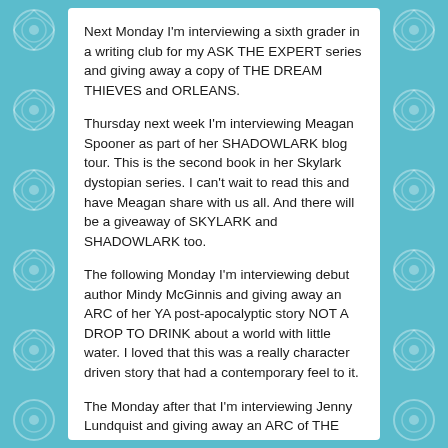Next Monday I'm interviewing a sixth grader in a writing club for my ASK THE EXPERT series and giving away a copy of THE DREAM THIEVES and ORLEANS.
Thursday next week I'm interviewing Meagan Spooner as part of her SHADOWLARK blog tour. This is the second book in her Skylark dystopian series. I can't wait to read this and have Meagan share with us all. And there will be a giveaway of SKYLARK and SHADOWLARK too.
The following Monday I'm interviewing debut author Mindy McGinnis and giving away an ARC of her YA post-apocalyptic story NOT A DROP TO DRINK about a world with little water. I loved that this was a really character driven story that had a contemporary feel to it.
The Monday after that I'm interviewing Jenny Lundquist and giving away an ARC of THE PRINCESS IN THE OPAL MASK, a YA fantasy